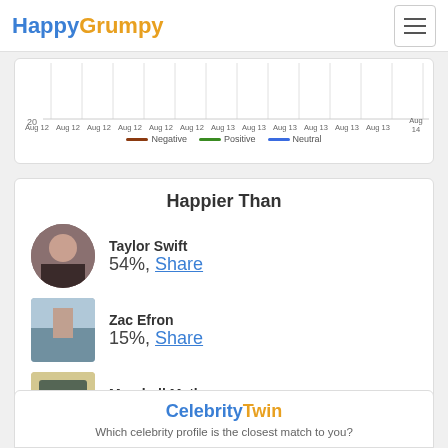HappyGrumpy
[Figure (line-chart): Line chart showing Negative, Positive, and Neutral sentiment from Aug 12 to Aug 14]
Happier Than
[Figure (photo): Circular profile photo of Taylor Swift]
Taylor Swift
54%, Share
[Figure (photo): Rectangular photo of Zac Efron]
Zac Efron
15%, Share
[Figure (illustration): Cartoon illustration of Marshall Mathers]
Marshall Mathers
1%, Share
CelebrityTwin
Which celebrity profile is the closest match to you?